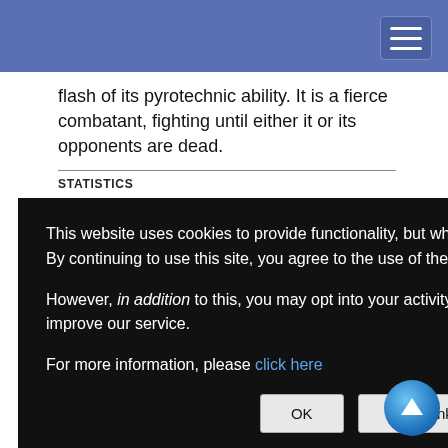flash of its pyrotechnic ability. It is a fierce combatant, fighting until either it or its opponents are dead.
STATISTICS
Str 6, Dex 17, Con 11, Int 4, Wis 13, Cha 9
Base Atk +4; CMB +1; CMD 14
Feats Iron Will, Skill Focus (Perception),
This website uses cookies to provide functionality, but which are not used to track your activity. By continuing to use this site, you agree to the use of these cookies.

However, in addition to this, you may opt into your activity being tracked in order to help us improve our service.

For more information, please click here
immediately burn out, so there is no